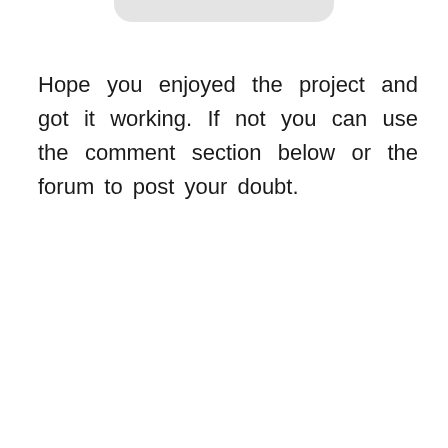Hope you enjoyed the project and got it working. If not you can use the comment section below or the forum to post your doubt.